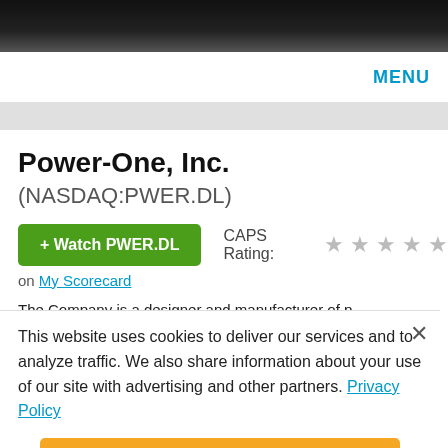MENU
Power-One, Inc. (NASDAQ:PWER.DL)
[Figure (other): Green button labeled '+ Watch PWER.DL']
CAPS Rating: ☆☆☆☆☆
on My Scorecard
The Company is a designer and manufacturer of p... sold into the communications infrastructure and tec...
This website uses cookies to deliver our services and to analyze traffic. We also share information about your use of our site with advertising and other partners. Privacy Policy
Got it
Cookie Settings